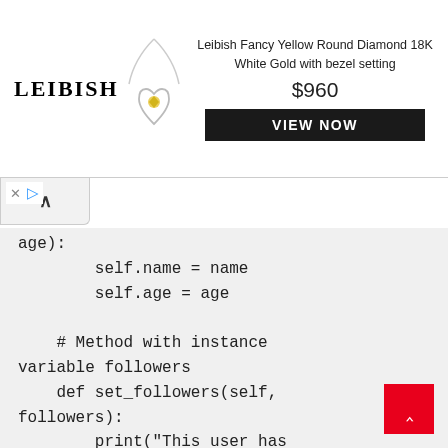[Figure (screenshot): Advertisement banner for Leibish jewelry showing a fancy yellow round diamond heart pendant necklace in 18K white gold with bezel setting, priced at $960 with a VIEW NOW button.]
× ▷ (ad controls)
^ (collapse button)
age):
        self.name = name
        self.age = age

    # Method with instance variable followers
    def set_followers(self, followers):
        print("This user has " + str(followers) + " followers")


def main():
    # First object, set up